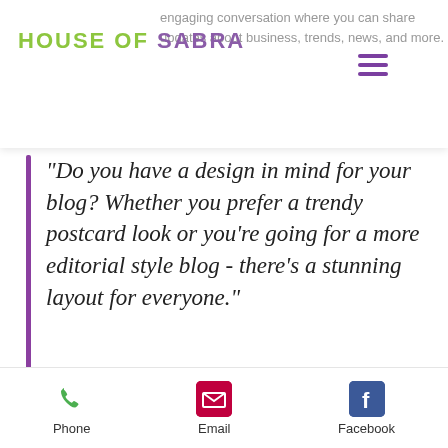HOUSE OF SABRA
engaging conversation where you can share updates about business, trends, news, and more.
“Do you have a design in mind for your blog? Whether you prefer a trendy postcard look or you’re going for a more editorial style blog - there’s a stunning layout for everyone.”
You'll be...
Phone   Email   Facebook